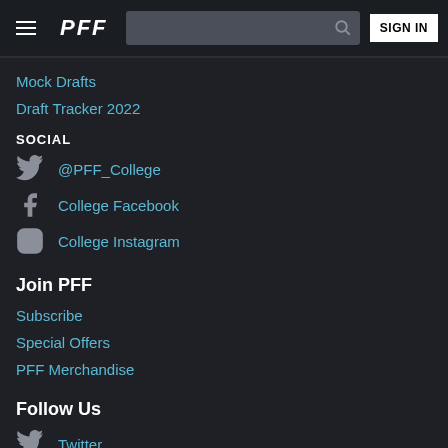PFF — SIGN IN
Mock Drafts
Draft Tracker 2022
SOCIAL
@PFF_College
College Facebook
College Instagram
Join PFF
Subscribe
Special Offers
PFF Merchandise
Follow Us
Twitter